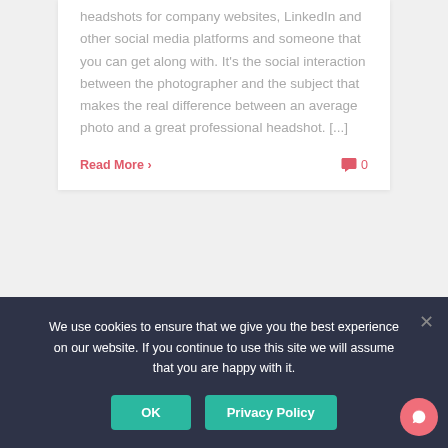headshots for company websites, LinkedIn and other social media platforms and someone that you can get along with. It's the social interaction between the photographer and the subject that makes the real difference between an average photo and a great professional headshot. [...]
Read More ›
0
Recent Posts
The Importance of expressions – and how we achieve
We use cookies to ensure that we give you the best experience on our website. If you continue to use this site we will assume that you are happy with it.